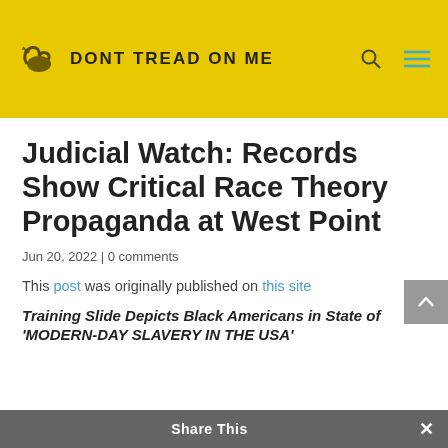DONT TREAD ON ME
Judicial Watch: Records Show Critical Race Theory Propaganda at West Point
Jun 20, 2022 | 0 comments
This post was originally published on this site
Training Slide Depicts Black Americans in State of ‘MODERN-DAY SLAVERY IN THE USA’
Share This